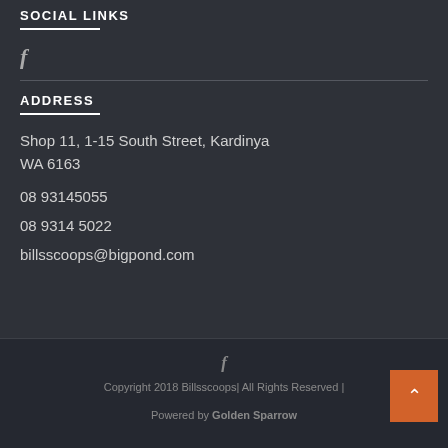SOCIAL LINKS
f
ADDRESS
Shop 11, 1-15 South Street, Kardinya WA 6163
08 93145055
08 9314 5022
billsscoops@bigpond.com
f
Copyright 2018 Billsscoops| All Rights Reserved |
Powered by Golden Sparrow